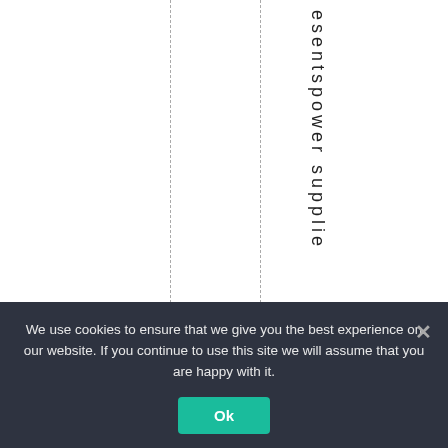[Figure (other): A page with two vertical dashed lines dividing the white area into columns, with vertical text spelling 'esentspower supplie' (partial word, rotated 90 degrees) visible in the right-center column area.]
We use cookies to ensure that we give you the best experience on our website. If you continue to use this site we will assume that you are happy with it.
Ok